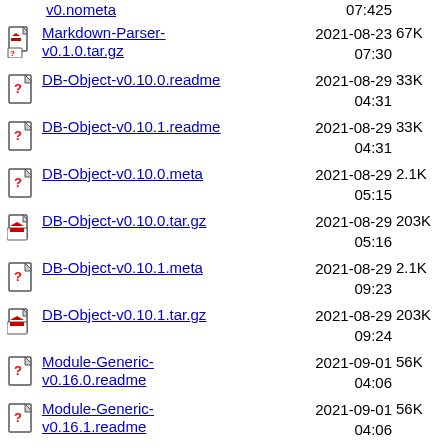v0.nometa  07:425
Markdown-Parser-v0.1.0.tar.gz  2021-08-23 07:30  67K
DB-Object-v0.10.0.readme  2021-08-29 04:31  33K
DB-Object-v0.10.1.readme  2021-08-29 04:31  33K
DB-Object-v0.10.0.meta  2021-08-29 05:15  2.1K
DB-Object-v0.10.0.tar.gz  2021-08-29 05:16  203K
DB-Object-v0.10.1.meta  2021-08-29 09:23  2.1K
DB-Object-v0.10.1.tar.gz  2021-08-29 09:24  203K
Module-Generic-v0.16.0.readme  2021-09-01 04:06  56K
Module-Generic-v0.16.1.readme  2021-09-01 04:06  56K
Module-Generic-v0.16.2.readme  2021-09-01 04:06  56K
Module-Generic-v0.16.3.readme  2021-09-01 04:06  56K